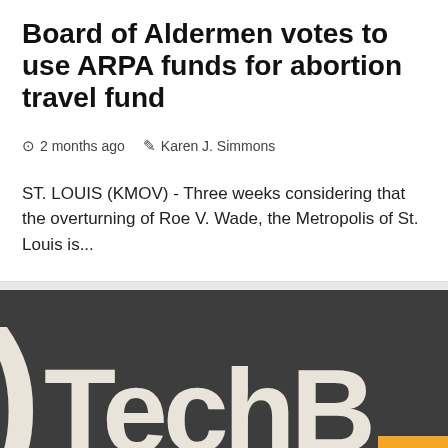Board of Aldermen votes to use ARPA funds for abortion travel fund
2 months ago  Karen J. Simmons
ST. LOUIS (KMOV) - Three weeks considering that the overturning of Roe V. Wade, the Metropolis of St. Louis is...
[Figure (logo): TechBuzz or similar tech news logo on dark gray background with large white rounded letters 'TechB' visible, with a yellow back-to-top button in bottom right corner]